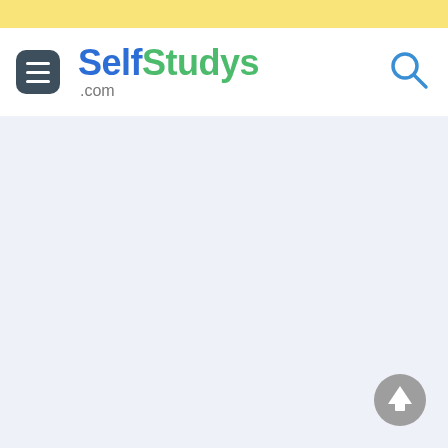[Figure (screenshot): Yellow top bar decorative strip]
SelfStudys.com
[Figure (other): Main content area with light blue-grey background and scroll-to-top button]